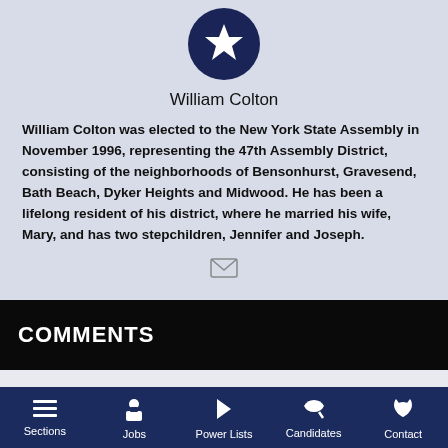[Figure (illustration): Circular dark navy avatar with a white star icon, representing William Colton's profile photo]
William Colton
William Colton was elected to the New York State Assembly in November 1996, representing the 47th Assembly District, consisting of the neighborhoods of Bensonhurst, Gravesend, Bath Beach, Dyker Heights and Midwood. He has been a lifelong resident of his district, where he married his wife, Mary, and has two stepchildren, Jennifer and Joseph.
[Figure (illustration): Email envelope icon]
COMMENTS
Sections   Jobs   Power Lists   Candidates   Contact